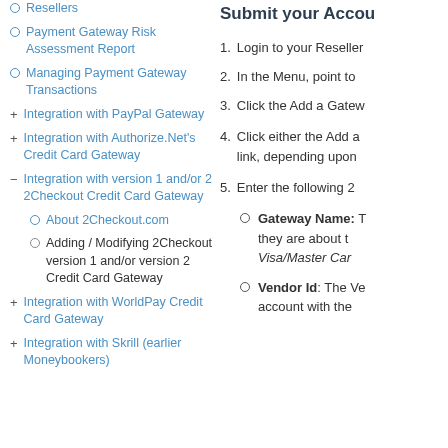Resellers
Payment Gateway Risk Assessment Report
Managing Payment Gateway Transactions
Integration with PayPal Gateway
Integration with Authorize.Net's Credit Card Gateway
Integration with version 1 and/or 2 2Checkout Credit Card Gateway
About 2Checkout.com
Adding / Modifying 2Checkout version 1 and/or version 2 Credit Card Gateway
Integration with WorldPay Credit Card Gateway
Integration with Skrill (earlier Moneybookers)
Submit your Accou
1. Login to your Reseller
2. In the Menu, point to
3. Click the Add a Gatew
4. Click either the Add a link, depending upon
5. Enter the following 2
Gateway Name: T they are about t Visa/Master Car
Vendor Id: The Ve account with the